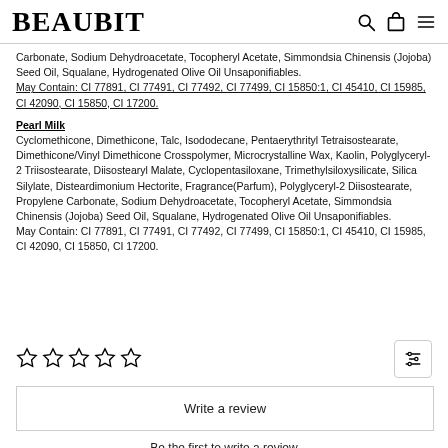BEAUBIT
Carbonate, Sodium Dehydroacetate, Tocopheryl Acetate, Simmondsia Chinensis (Jojoba) Seed Oil, Squalane, Hydrogenated Olive Oil Unsaponifiables.
May Contain: CI 77891, CI 77491, CI 77492, CI 77499, CI 15850:1, CI 45410, CI 15985, CI 42090, CI 15850, CI 17200.
Pearl Milk
Cyclomethicone, Dimethicone, Talc, Isododecane, Pentaerythrityl Tetraisostearate, Dimethicone/Vinyl Dimethicone Crosspolymer, Microcrystalline Wax, Kaolin, Polyglyceryl-2 Triisostearate, Diisostearyl Malate, Cyclopentasiloxane, Trimethylsiloxysilicate, Silica Silylate, Disteardimonium Hectorite, Fragrance(Parfum), Polyglyceryl-2 Diisostearate, Propylene Carbonate, Sodium Dehydroacetate, Tocopheryl Acetate, Simmondsia Chinensis (Jojoba) Seed Oil, Squalane, Hydrogenated Olive Oil Unsaponifiables.
May Contain: CI 77891, CI 77491, CI 77492, CI 77499, CI 15850:1, CI 45410, CI 15985, CI 42090, CI 15850, CI 17200.
[Figure (other): Five empty star rating icons]
Write a review
Be the first to write a review